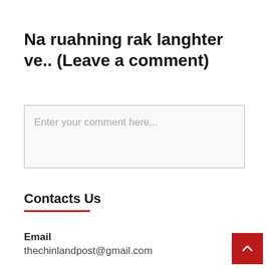Na ruahning rak langhter ve.. (Leave a comment)
Enter your comment here...
Contacts Us
Email
thechinlandpost@gmail.com